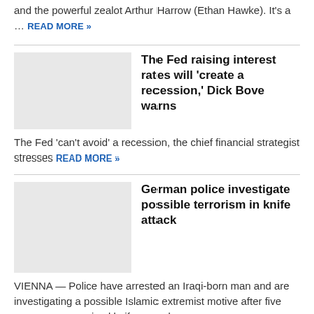and the powerful zealot Arthur Harrow (Ethan Hawke). It's a … READ MORE »
The Fed raising interest rates will 'create a recession,' Dick Bove warns
The Fed 'can't avoid' a recession, the chief financial strategist stresses READ MORE »
German police investigate possible terrorism in knife attack
VIENNA — Police have arrested an Iraqi-born man and are investigating a possible Islamic extremist motive after five passengers received knife wounds